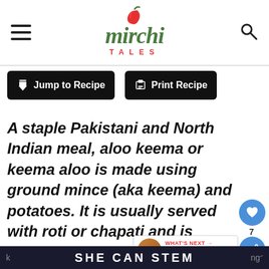[Figure (logo): Mirchi Tales logo with red chili pepper illustration, green italic script 'mirchi' and red 'TALES' in spaced capitals, hamburger menu icon on left, search icon on right]
Jump to Recipe
Print Recipe
A staple Pakistani and North Indian meal, aloo keema or keema aloo is made using ground mince (aka keema) and potatoes. It is usually served with roti or chapati and is delicious with Basmati rice also delicious served with a quick
WHAT'S NEXT → Aloo Gosht | Mutton Curr...
SHE CAN STEM